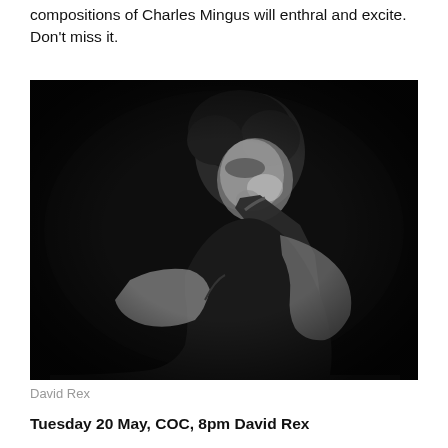compositions of Charles Mingus will enthral and excite. Don't miss it.
[Figure (photo): Black and white photograph of a man playing saxophone, leaning forward intensely, dark background.]
David Rex
Tuesday 20 May, COC, 8pm David Rex